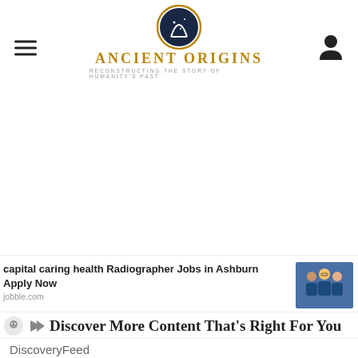Ancient Origins — Reconstructing the Story of Humanity's Past
[Figure (screenshot): Large white empty content area (advertisement or content placeholder)]
capital caring health Radiographer Jobs in Ashburn Apply Now
jobble.com
Discover More Content That's Right For You
DiscoveryFeed